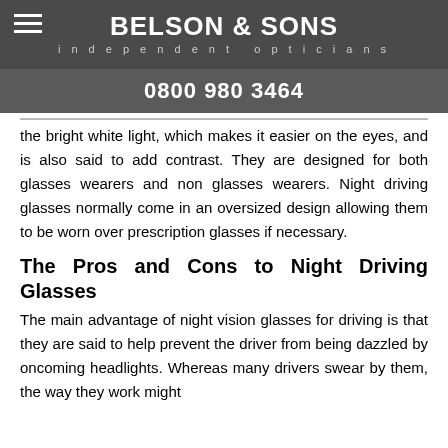BELSON & SONS independent opticians
0800 980 3464
the bright white light, which makes it easier on the eyes, and is also said to add contrast. They are designed for both glasses wearers and non glasses wearers. Night driving glasses normally come in an oversized design allowing them to be worn over prescription glasses if necessary.
The Pros and Cons to Night Driving Glasses
The main advantage of night vision glasses for driving is that they are said to help prevent the driver from being dazzled by oncoming headlights. Whereas many drivers swear by them, the way they work might